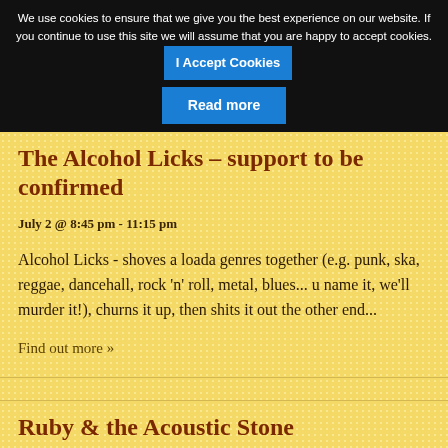We use cookies to ensure that we give you the best experience on our website. If you continue to use this site we will assume that you are happy to accept cookies.
I Accept Cookies
Read more
The Alcohol Licks – support to be confirmed
July 2 @ 8:45 pm - 11:15 pm
Alcohol Licks - shoves a loada genres together (e.g. punk, ska, reggae, dancehall, rock 'n' roll, metal, blues... u name it, we'll murder it!), churns it up, then shits it out the other end...
Find out more »
Ruby & the Acoustic Stone
July 3 @ 5:00 pm - 7:30 pm
The incredible vocal talent of Ms Ruby Tiger is highlighted